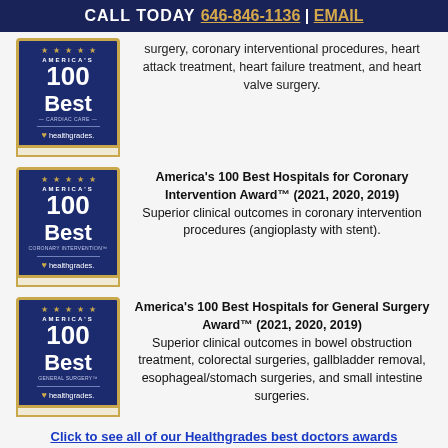CALL TODAY 646-846-1136 | EMAIL
surgery, coronary interventional procedures, heart attack treatment, heart failure treatment, and heart valve surgery.
[Figure (logo): America's 100 Best Coronary Intervention Healthgrades badge]
America’s 100 Best Hospitals for Coronary Intervention Award™ (2021, 2020, 2019) Superior clinical outcomes in coronary intervention procedures (angioplasty with stent).
[Figure (logo): America's 100 Best General Surgery Healthgrades badge]
America’s 100 Best Hospitals for General Surgery Award™ (2021, 2020, 2019) Superior clinical outcomes in bowel obstruction treatment, colorectal surgeries, gallbladder removal, esophageal/stomach surgeries, and small intestine surgeries.
Click to see all of our Healthgrades best doctors awards